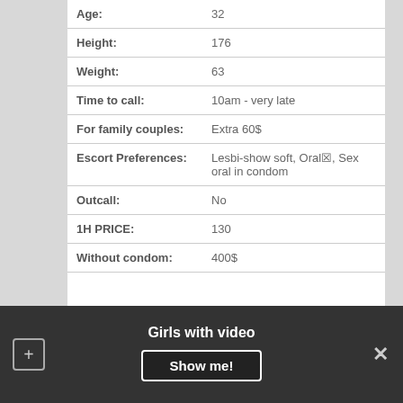| Field | Value |
| --- | --- |
| Age: | 32 |
| Height: | 176 |
| Weight: | 63 |
| Time to call: | 10am - very late |
| For family couples: | Extra 60$ |
| Escort Preferences: | Lesbi-show soft, Oral✗, Sex oral in condom |
| Outcall: | No |
| 1H PRICE: | 130 |
| Without condom: | 400$ |
Girls with video
Show me!